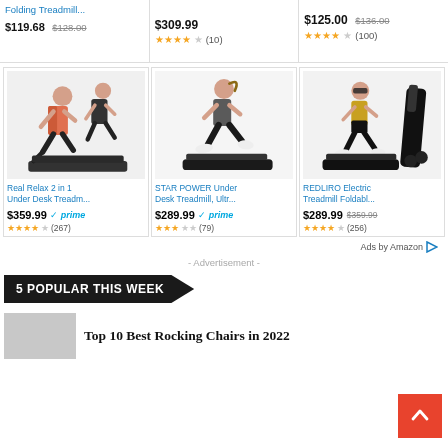Folding Treadmill...
$119.68  $128.00
$309.99  ★★★★☆ (10)
$125.00  $136.00  ★★★★☆ (100)
[Figure (photo): Two people running on treadmill - Real Relax 2 in 1 Under Desk Treadmill product image]
Real Relax 2 in 1 Under Desk Treadm...
$359.99 prime ★★★★☆ (267)
[Figure (photo): Woman running on under desk treadmill - STAR POWER Under Desk Treadmill product image]
STAR POWER Under Desk Treadmill, Ultr...
$289.99 prime ★★★★☆ (79)
[Figure (photo): Woman running on treadmill and folded treadmill - REDLIRO Electric Treadmill Foldabl... product image]
REDLIRO Electric Treadmill Foldabl...
$289.99  $359.99  ★★★★☆ (256)
Ads by Amazon
- Advertisement -
5 POPULAR THIS WEEK
Top 10 Best Rocking Chairs in 2022